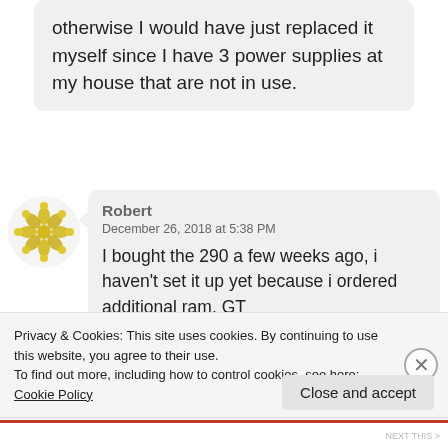otherwise I would have just replaced it myself since I have 3 power supplies at my house that are not in use.
Robert
December 26, 2018 at 5:38 PM
I bought the 290 a few weeks ago, i haven't set it up yet because i ordered additional ram, GT
Privacy & Cookies: This site uses cookies. By continuing to use this website, you agree to their use.
To find out more, including how to control cookies, see here: Cookie Policy
Close and accept